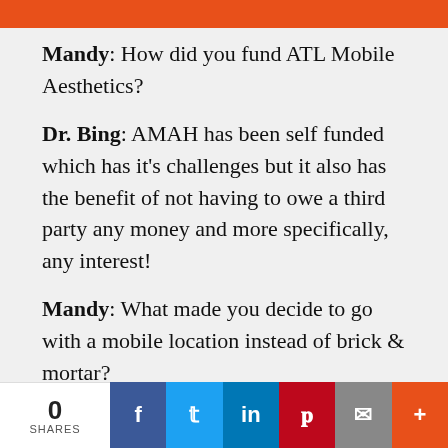Mandy: How did you fund ATL Mobile Aesthetics?
Dr. Bing: AMAH has been self funded which has it's challenges but it also has the benefit of not having to owe a third party any money and more specifically, any interest!
Mandy: What made you decide to go with a mobile location instead of brick & mortar?
Dr. Bing: Convenience, convenience and more convenience. Most people during this